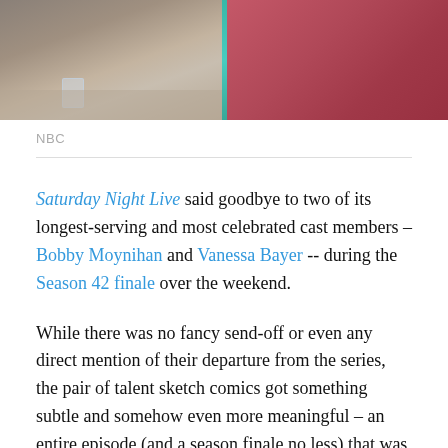[Figure (photo): TV screenshot showing two people seated at a table; left figure holds a glass, a teal vertical divider line, right figure in red/maroon top]
NBC
Saturday Night Live said goodbye to two of its longest-serving and most celebrated cast members – Bobby Moynihan and Vanessa Bayer -- during the Season 42 finale over the weekend.
While there was no fancy send-off or even any direct mention of their departure from the series, the pair of talent sketch comics got something subtle and somehow even more meaningful – an entire episode (and a season finale no less) that was basically dedicated to them.